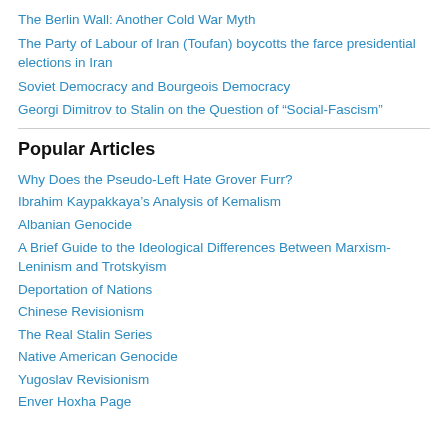The Berlin Wall: Another Cold War Myth
The Party of Labour of Iran (Toufan) boycotts the farce presidential elections in Iran
Soviet Democracy and Bourgeois Democracy
Georgi Dimitrov to Stalin on the Question of “Social-Fascism”
Popular Articles
Why Does the Pseudo-Left Hate Grover Furr?
Ibrahim Kaypakkaya’s Analysis of Kemalism
Albanian Genocide
A Brief Guide to the Ideological Differences Between Marxism-Leninism and Trotskyism
Deportation of Nations
Chinese Revisionism
The Real Stalin Series
Native American Genocide
Yugoslav Revisionism
Enver Hoxha Page